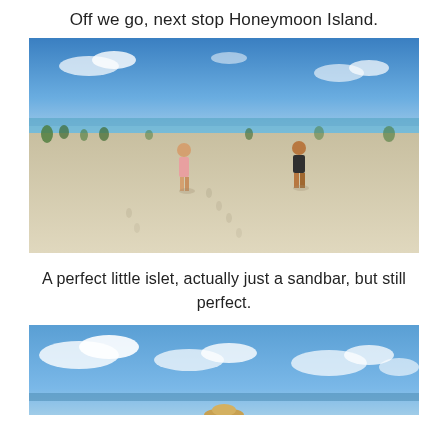Off we go, next stop Honeymoon Island.
[Figure (photo): Two people standing on a wide white sandy beach with blue sky and scattered low vegetation. Footprints visible in sand. Tropical beach scene.]
A perfect little islet, actually just a sandbar, but still perfect.
[Figure (photo): Partial view of a beach scene with blue sky and white clouds, bottom of image cropped. A person with a hat is partially visible at bottom center.]